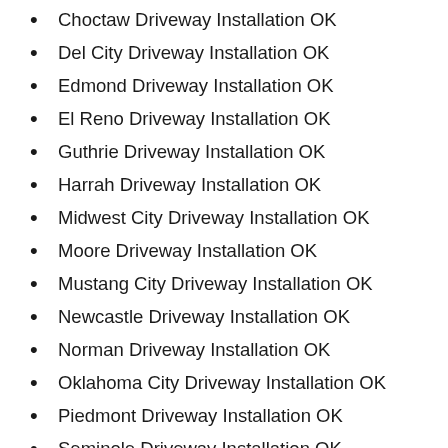Choctaw Driveway Installation OK
Del City Driveway Installation OK
Edmond Driveway Installation OK
El Reno Driveway Installation OK
Guthrie Driveway Installation OK
Harrah Driveway Installation OK
Midwest City Driveway Installation OK
Moore Driveway Installation OK
Mustang City Driveway Installation OK
Newcastle Driveway Installation OK
Norman Driveway Installation OK
Oklahoma City Driveway Installation OK
Piedmont Driveway Installation OK
Seminole Driveway Installation OK